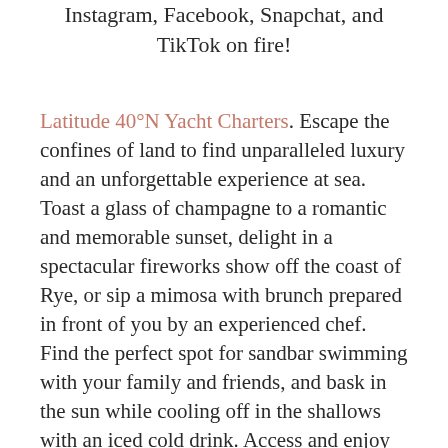Instagram, Facebook, Snapchat, and TikTok on fire!
Latitude 40°N Yacht Charters. Escape the confines of land to find unparalleled luxury and an unforgettable experience at sea. Toast a glass of champagne to a romantic and memorable sunset, delight in a spectacular fireworks show off the coast of Rye, or sip a mimosa with brunch prepared in front of you by an experienced chef. Find the perfect spot for sandbar swimming with your family and friends, and bask in the sun while cooling off in the shallows with an iced cold drink. Access and enjoy some of the hottest New York waterfront dining options in style! For those who are